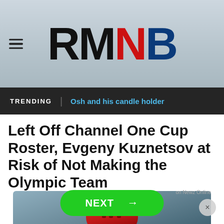[Figure (logo): RMNB logo with hamburger menu icon on ice rink background. RM in black, N in red, B in dark blue.]
TRENDING | Osh and his candle holder
Left Off Channel One Cup Roster, Evgeny Kuznetsov at Risk of Not Making the Olympic Team
[Figure (photo): Hockey photo showing a red hockey helmet close-up on ice rink background]
NEXT →
on Newz Online